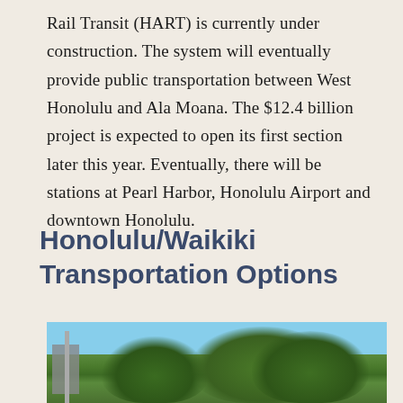Rail Transit (HART) is currently under construction. The system will eventually provide public transportation between West Honolulu and Ala Moana. The $12.4 billion project is expected to open its first section later this year. Eventually, there will be stations at Pearl Harbor, Honolulu Airport and downtown Honolulu.
Honolulu/Waikiki Transportation Options
[Figure (photo): Outdoor photo showing large green trees against a blue sky, with a light pole and building visible on the left side.]